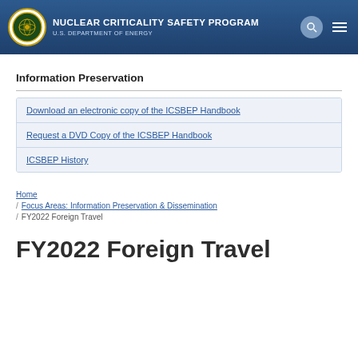Nuclear Criticality Safety Program | U.S. Department of Energy
Information Preservation
Download an electronic copy of the ICSBEP Handbook
Request a DVD Copy of the ICSBEP Handbook
ICSBEP History
Home / Focus Areas: Information Preservation & Dissemination / FY2022 Foreign Travel
FY2022 Foreign Travel